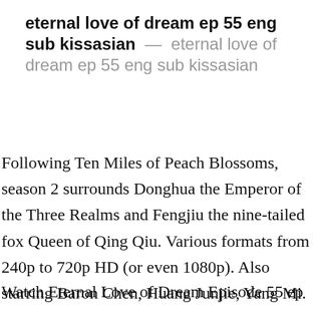eternal love of dream ep 55 eng sub kissasian — eternal love of dream ep 55 eng sub kissasian
Following Ten Miles of Peach Blossoms, season 2 surrounds Donghua the Emperor of the Three Realms and Fengjiu the nine-tailed fox Queen of Qing Qiu. Various formats from 240p to 720p HD (or even 1080p). Also starring Baron Chen, Huang Junjie, Yang Mi.
Watch Eternal Love of Dream Episode 55 ep eng